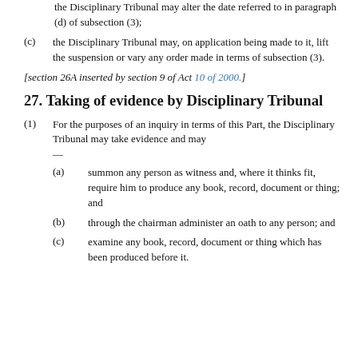the Disciplinary Tribunal may alter the date referred to in paragraph (d) of subsection (3);
(c) the Disciplinary Tribunal may, on application being made to it, lift the suspension or vary any order made in terms of subsection (3).
[section 26A inserted by section 9 of Act 10 of 2000.]
27. Taking of evidence by Disciplinary Tribunal
(1) For the purposes of an inquiry in terms of this Part, the Disciplinary Tribunal may take evidence and may —
(a) summon any person as witness and, where it thinks fit, require him to produce any book, record, document or thing; and
(b) through the chairman administer an oath to any person; and
(c) examine any book, record, document or thing which has been produced before it.